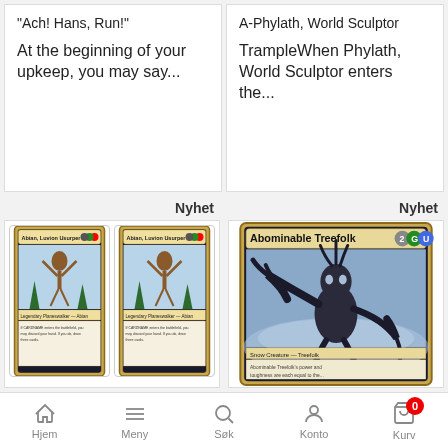"Ach! Hans, Run!"
At the beginning of your upkeep, you may say...
A-Phylath, World Sculptor
TrampleWhen Phylath, World Sculptor enters the...
Nyhet
[Figure (photo): Two Magic: The Gathering cards showing Abian, Luvion Usurper side by side]
Nyhet
[Figure (photo): Magic: The Gathering card Abominable Treefolk showing a dark creature artwork, cost 2 green blue]
Hjem  Meny  Søk  Konto  Kurv